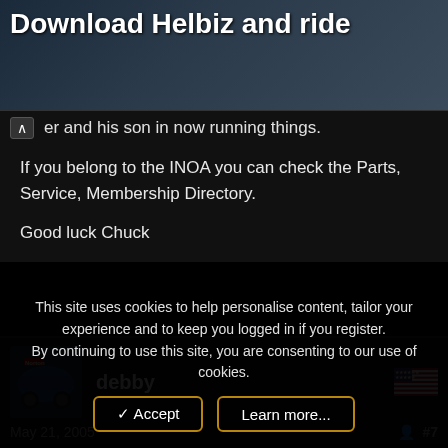[Figure (photo): Advertisement banner with text 'Download Helbiz and ride' over a dark urban background photo]
er and his son in now running things.
If you belong to the INOA you can check the Parts, Service, Membership Directory.
Good luck Chuck
debby
[Figure (photo): User avatar thumbnail showing a Norton motorcycle, blue tank]
[Figure (other): US flag icon]
May 21, 2005   #7
This site uses cookies to help personalise content, tailor your experience and to keep you logged in if you register.
By continuing to use this site, you are consenting to our use of cookies.
✓ Accept
Learn more...